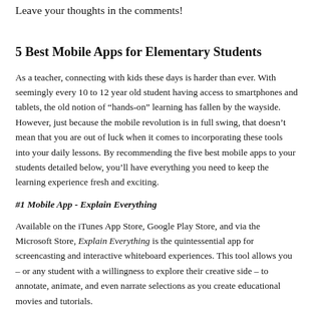Leave your thoughts in the comments!
5 Best Mobile Apps for Elementary Students
As a teacher, connecting with kids these days is harder than ever. With seemingly every 10 to 12 year old student having access to smartphones and tablets, the old notion of “hands-on” learning has fallen by the wayside. However, just because the mobile revolution is in full swing, that doesn’t mean that you are out of luck when it comes to incorporating these tools into your daily lessons. By recommending the five best mobile apps to your students detailed below, you’ll have everything you need to keep the learning experience fresh and exciting.
#1 Mobile App - Explain Everything
Available on the iTunes App Store, Google Play Store, and via the Microsoft Store, Explain Everything is the quintessential app for screencasting and interactive whiteboard experiences. This tool allows you – or any student with a willingness to explore their creative side – to annotate, animate, and even narrate selections as you create educational movies and tutorials.